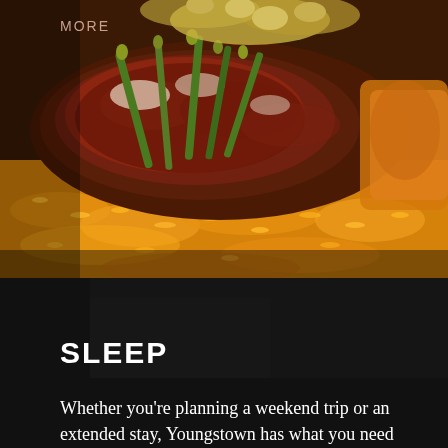[Figure (photo): Close-up photo of a meat dish with green beans and bright yellow saffron rice on a plate]
MORE
SLEEP
Whether you're planning a weekend trip or an extended stay, Youngstown has what you need to find the perfect